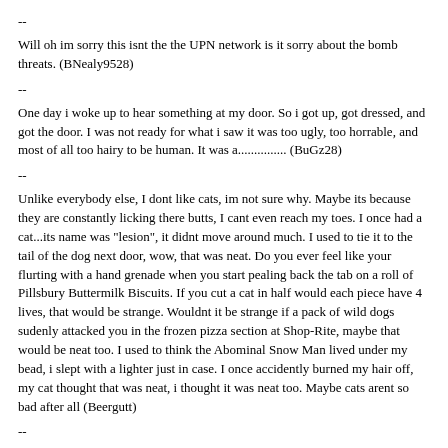--
Will oh im sorry this isnt the the UPN network is it sorry about the bomb threats. (BNealy9528)
--
One day i woke up to hear something at my door. So i got up, got dressed, and got the door. I was not ready for what i saw it was too ugly, too horrable, and most of all too hairy to be human. It was a............... (BuGz28)
--
Unlike everybody else, I dont like cats, im not sure why. Maybe its because they are constantly licking there butts, I cant even reach my toes. I once had a cat...its name was "lesion", it didnt move around much. I used to tie it to the tail of the dog next door, wow, that was neat. Do you ever feel like your flurting with a hand grenade when you start pealing back the tab on a roll of Pillsbury Buttermilk Biscuits. If you cut a cat in half would each piece have 4 lives, that would be strange. Wouldnt it be strange if a pack of wild dogs sudenly attacked you in the frozen pizza section at Shop-Rite, maybe that would be neat too. I used to think the Abominal Snow Man lived under my bead, i slept with a lighter just in case. I once accidently burned my hair off, my cat thought that was neat, i thought it was neat too. Maybe cats arent so bad after all (Beergutt)
--
I hate peanut butter (UzeTheFors)
A Trivial Pursuit hint, if you're asked what substance is also known as